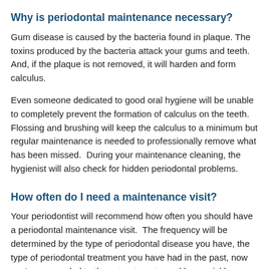Why is periodontal maintenance necessary?
Gum disease is caused by the bacteria found in plaque. The toxins produced by the bacteria attack your gums and teeth. And, if the plaque is not removed, it will harden and form calculus.
Even someone dedicated to good oral hygiene will be unable to completely prevent the formation of calculus on the teeth. Flossing and brushing will keep the calculus to a minimum but regular maintenance is needed to professionally remove what has been missed.  During your maintenance cleaning, the hygienist will also check for hidden periodontal problems.
How often do I need a maintenance visit?
Your periodontist will recommend how often you should have a periodontal maintenance visit.  The frequency will be determined by the type of periodontal disease you have, the type of periodontal treatment you have had in the past, now you've responded to those treatments, and how quickly you